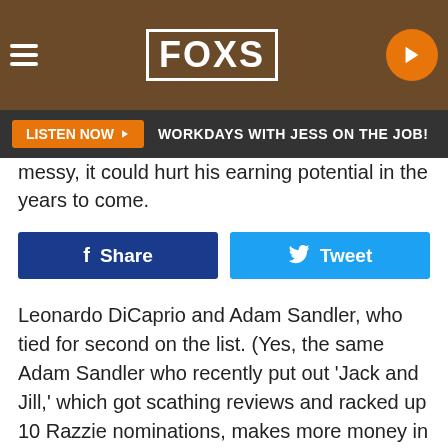FOXS | LISTEN NOW - WORKDAYS WITH JESS ON THE JOB!
messy, it could hurt his earning potential in the years to come.
[Figure (other): Facebook Share button and Twitter Tweet button side by side]
Leonardo DiCaprio and Adam Sandler, who tied for second on the list. (Yes, the same Adam Sandler who recently put out 'Jack and Jill,' which got scathing reviews and racked up 10 Razzie nominations, makes more money in a year than you'll likely see in a lifetime.)
But although DiCaprio and Sandler made what seems like a pittance compared to Cruise, it's still more than Hollywood's highest paid actress — Kristen Stewart — made last year. She